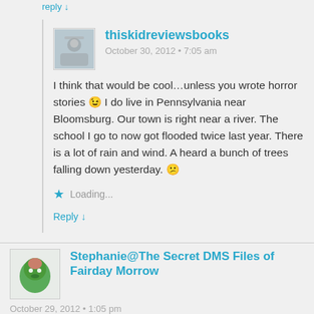Reply ↓
thiskidreviewsbooks
October 30, 2012 • 7:05 am
I think that would be cool…unless you wrote horror stories 😉 I do live in Pennsylvania near Bloomsburg. Our town is right near a river. The school I go to now got flooded twice last year. There is a lot of rain and wind. A heard a bunch of trees falling down yesterday. 😕
Loading...
Reply ↓
Stephanie@The Secret DMS Files of Fairday Morrow
October 29, 2012 • 1:05 pm
I haven't heard of this series. I think it sounds fascinating. I